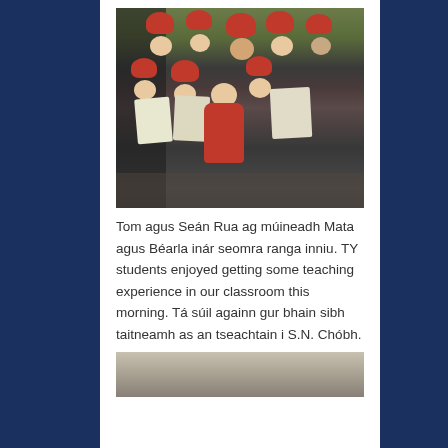[Figure (photo): Group of children and young people wearing Santa hats, singing or performing caroling, holding sheet music papers, in an indoor setting]
Tom agus Seán Rua ag múineadh Mata agus Béarla inár seomra ranga inniu. TY students enjoyed getting some teaching experience in our classroom this morning. Tá súil againn gur bhain sibh taitneamh as an tseachtain i S.N. Chóbh.
[Figure (photo): Partial photo visible at bottom of page, appears to be an outdoor or building scene]